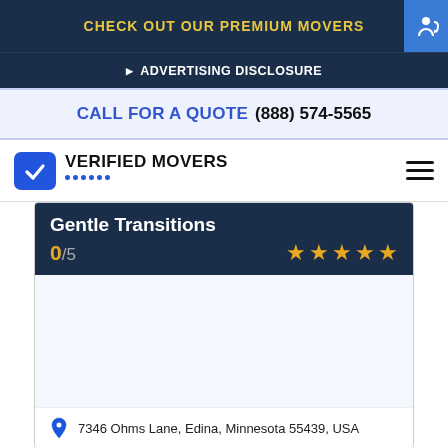CHECK OUT OUR PREMIUM MOVERS
ADVERTISING DISCLOSURE
CALL FOR A QUOTE (888) 574-5565
[Figure (logo): Verified Movers logo with blue checkbox icon and dotted underline]
Gentle Transitions
0/5
7346 Ohms Lane, Edina, Minnesota 55439, USA